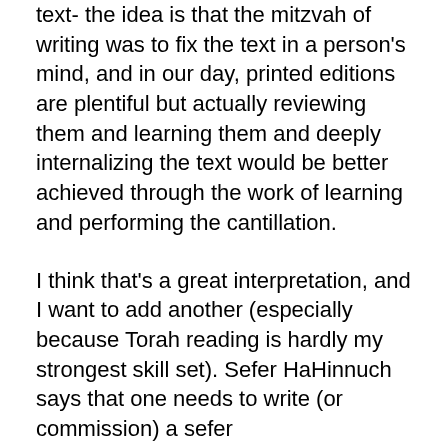text- the idea is that the mitzvah of writing was to fix the text in a person's mind, and in our day, printed editions are plentiful but actually reviewing them and learning them and deeply internalizing the text would be better achieved through the work of learning and performing the cantillation.
I think that's a great interpretation, and I want to add another (especially because Torah reading is hardly my strongest skill set). Sefer HaHinnuch says that one needs to write (or commission) a sefer